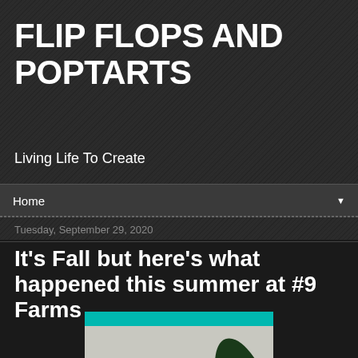FLIP FLOPS AND POPTARTS
Living Life To Create
Home
Tuesday, September 29, 2020
It's Fall but here's what happened this summer at #9 Farms
[Figure (photo): Photo of a green leafy plant with red berries in a bright green planter box, with a teal/turquoise bar visible at the top]